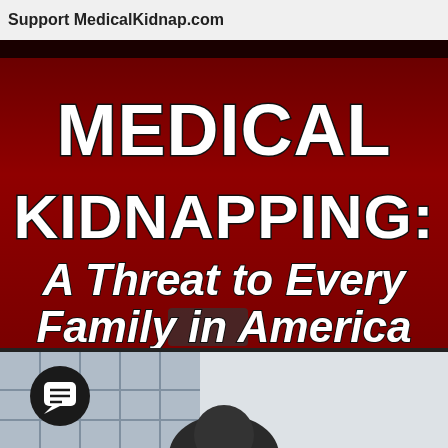Support MedicalKidnap.com
[Figure (illustration): Book or promotional cover image with a dark red/maroon background. Large bold white text reads 'MEDICAL KIDNAPPING:' followed by italic bold white text 'A Threat to Every Family in America'. At the bottom, a dark overlay UI element (chat/message icon button) appears, and below the main title area is the beginning of a photographic scene showing a person in a medical/clinical setting.]